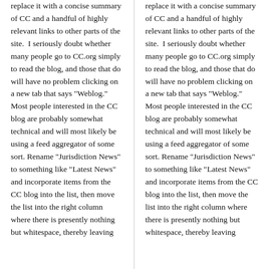replace it with a concise summary of CC and a handful of highly relevant links to other parts of the site.  I seriously doubt whether many people go to CC.org simply to read the blog, and those that do will have no problem clicking on a new tab that says "Weblog."  Most people interested in the CC blog are probably somewhat technical and will most likely be using a feed aggregator of some sort. Rename "Jurisdiction News" to something like "Latest News" and incorporate items from the CC blog into the list, then move the list into the right column where there is presently nothing but whitespace, thereby leaving
replace it with a concise summary of CC and a handful of highly relevant links to other parts of the site.  I seriously doubt whether many people go to CC.org simply to read the blog, and those that do will have no problem clicking on a new tab that says "Weblog."  Most people interested in the CC blog are probably somewhat technical and will most likely be using a feed aggregator of some sort. Rename "Jurisdiction News" to something like "Latest News" and incorporate items from the CC blog into the list, then move the list into the right column where there is presently nothing but whitespace, thereby leaving